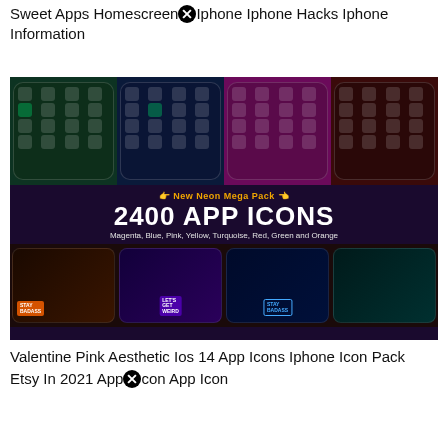Sweet Apps Homescreen Iphone Iphone Hacks Iphone Information
[Figure (photo): Composite promotional image showing iPhone home screens with neon-themed app icon packs. Top row shows 4 phones with green, blue, pink, and dark red themes. Middle banner reads 'New Neon Mega Pack 2400 APP ICONS Magenta, Blue, Pink, Yellow, Turquoise, Red, Green and Orange'. Bottom row shows 4 phones with orange, purple, blue, and teal neon themes.]
Valentine Pink Aesthetic Ios 14 App Icons Iphone Icon Pack Etsy In 2021 App Icon App Icon